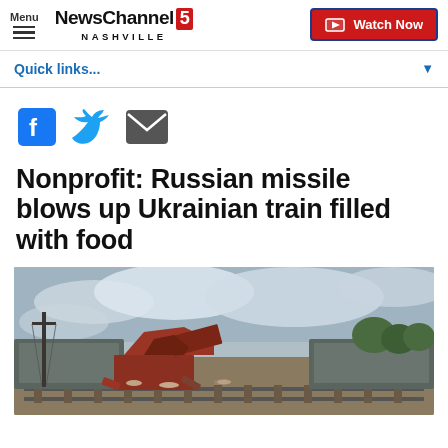Menu | NewsChannel 5 NASHVILLE | Watch Now
Quick links...
[Figure (other): Social sharing icons: Facebook, Twitter, Email]
Nonprofit: Russian missile blows up Ukrainian train filled with food
[Figure (photo): Photograph showing destroyed/blown-up train cars with wreckage and debris scattered on railway tracks, cloudy sky background]